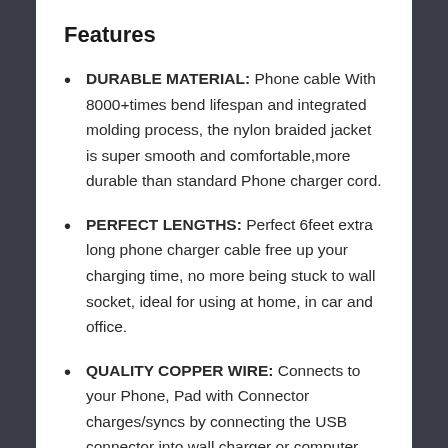Features
DURABLE MATERIAL: Phone cable With 8000+times bend lifespan and integrated molding process, the nylon braided jacket is super smooth and comfortable,more durable than standard Phone charger cord.
PERFECT LENGTHS: Perfect 6feet extra long phone charger cable free up your charging time, no more being stuck to wall socket, ideal for using at home, in car and office.
QUALITY COPPER WIRE: Connects to your Phone, Pad with Connector charges/syncs by connecting the USB connector into wall charger or computer. Enjoy charge times up faster than the average standard cable.